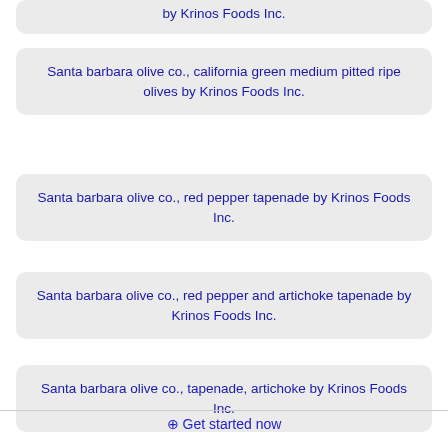by Krinos Foods Inc.
Santa barbara olive co., california green medium pitted ripe olives by Krinos Foods Inc.
Santa barbara olive co., red pepper tapenade by Krinos Foods Inc.
Santa barbara olive co., red pepper and artichoke tapenade by Krinos Foods Inc.
Santa barbara olive co., tapenade, artichoke by Krinos Foods Inc.
⊕ Get started now